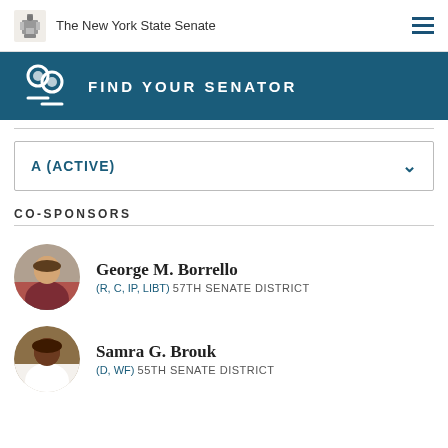The New York State Senate
FIND YOUR SENATOR
A (ACTIVE)
CO-SPONSORS
George M. Borrello (R, C, IP, LIBT) 57TH SENATE DISTRICT
Samra G. Brouk (D, WF) 55TH SENATE DISTRICT